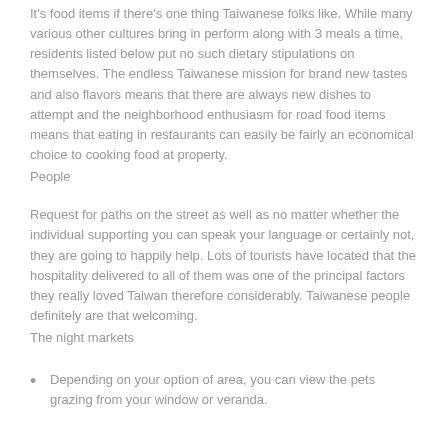It's food items if there's one thing Taiwanese folks like. While many various other cultures bring in perform along with 3 meals a time, residents listed below put no such dietary stipulations on themselves. The endless Taiwanese mission for brand new tastes and also flavors means that there are always new dishes to attempt and the neighborhood enthusiasm for road food items means that eating in restaurants can easily be fairly an economical choice to cooking food at property.
People
Request for paths on the street as well as no matter whether the individual supporting you can speak your language or certainly not, they are going to happily help. Lots of tourists have located that the hospitality delivered to all of them was one of the principal factors they really loved Taiwan therefore considerably. Taiwanese people definitely are that welcoming.
The night markets
Depending on your option of area, you can view the pets grazing from your window or veranda.